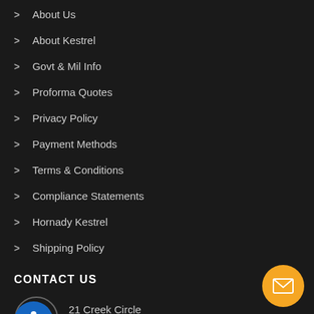> About Us
> About Kestrel
> Govt & Mil Info
> Proforma Quotes
> Privacy Policy
> Payment Methods
> Terms & Conditions
> Compliance Statements
> Hornady Kestrel
> Shipping Policy
CONTACT US
21 Creek Circle
Berwyn, PA 19061